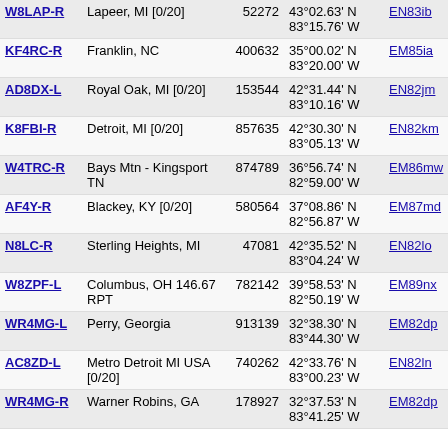| Callsign | Location | Node ID | Coordinates | Grid | Freq | Extra |
| --- | --- | --- | --- | --- | --- | --- |
| W8LAP-R | Lapeer, MI [0/20] | 52272 | 43°02.63' N 83°15.76' W | EN83ib | 1910.6 | 14 |
| KF4RC-R | Franklin, NC | 400632 | 35°00.02' N 83°20.00' W | EM85ia | 1911.0 | 14 |
| AD8DX-L | Royal Oak, MI [0/20] | 153544 | 42°31.44' N 83°10.16' W | EN82jm | 1911.1 |  |
| K8FBI-R | Detroit, MI [0/20] | 857635 | 42°30.30' N 83°05.13' W | EN82km | 1915.2 |  |
| W4TRC-R | Bays Mtn - Kingsport TN | 874789 | 36°56.74' N 82°59.00' W | EM86mw | 1915.6 | 14 |
| AF4Y-R | Blackey, KY [0/20] | 580564 | 37°08.86' N 82°56.87' W | EM87md | 1916.5 |  |
| N8LC-R | Sterling Heights, MI | 47081 | 42°35.52' N 83°04.24' W | EN82lo | 1916.6 |  |
| W8ZPF-L | Columbus, OH 146.67 RPT | 782142 | 39°58.53' N 82°50.19' W | EM89nx | 1917.2 | 14 |
| WR4MG-L | Perry, Georgia | 913139 | 32°38.30' N 83°44.30' W | EM82dp | 1917.3 | 14 |
| AC8ZD-L | Metro Detroit MI USA [0/20] | 740262 | 42°33.76' N 83°00.23' W | EN82ln | 1919.8 |  |
| WR4MG-R | Warner Robins, GA | 178927 | 32°37.53' N 83°41.25' W | EM82dp | 1920.3 | 14 |